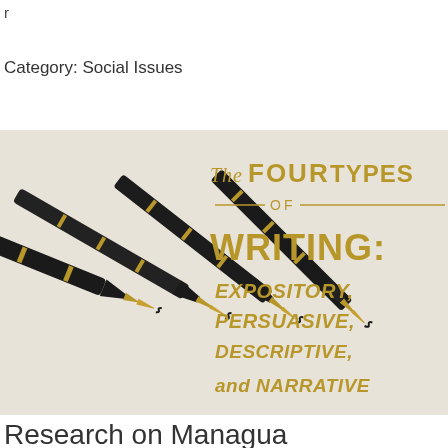r
Category: Social Issues
[Figure (photo): Four black and gold fountain pens arranged diagonally on a light background with golden text reading 'The Four Types of Writing: Expository, Persuasive, Descriptive, and Narrative']
Research on Managua